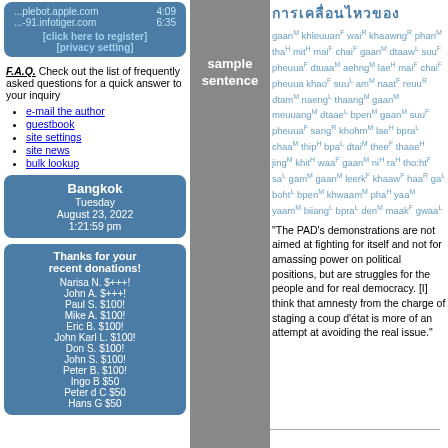...plebot.apple.com 4:09
...-91.infotiger.com 6:35
[click here to register]
[privacy setting]
F.A.Q. Check out the list of frequently asked questions for a quick answer to your inquiry
e-mail the author
guestbook
site settings
site news
bulk lookup
Bangkok
Tuesday
August 23, 2022
1:21:59 pm
Thanks for your recent donations!
Narisa N. $+++!
John A. $+++!
Paul S. $100!
Mike A. $100!
Eric B. $100!
John Karl L. $100!
Don S. $100!
John S. $100!
Peter B. $100!
Ingo B $50
Peter d C $50
Hans G $50
sample sentence
การเคลื่อนไหวของ
gaanM khleuuanF waiR khaawngR phanM thaH mitH maiF chaiF gaanM dtaawL suuF pheuuaF dtuaaM aehngM laeH maiF chaiF pheuua khaoF suuL amM naatF reuuR dtamM naengL thaangM gaanM meuuangM dtaaeL bpenM gaanM suuF pheuuaF sangR khohmM laeH bpraL chaaM thipH bpaL dtaiM theeF thaaeH jingM khitH waaF gaanM niH raH tho:htF saL gamM gaanM leerkF khaawF haaR gaL bohtL bpenM khwaamM phaH yaaM yaamM biiangl bpraL denM maakF gwaaL
"The PAD's demonstrations are not aimed at fighting for itself and not for amassing power on political positions, but are struggles for the people and for real democracy. [I] think that amnesty from the charge of staging a coup d'état is more of an attempt at avoiding the real issue."
click here to submit a correction, drawing, image, audio